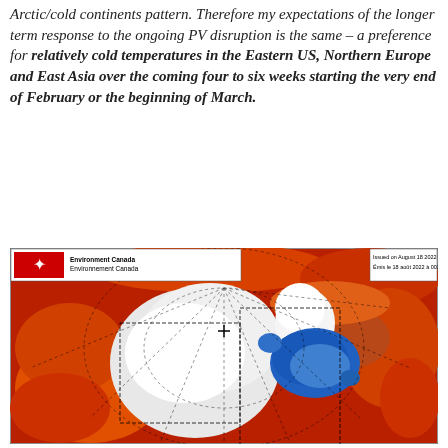Arctic/cold continents pattern. Therefore my expectations of the longer term response to the ongoing PV disruption is the same – a preference for relatively cold temperatures in the Eastern US, Northern Europe and East Asia over the coming four to six weeks starting the very end of February or the beginning of March.
[Figure (map): Environment Canada polar stereographic map showing temperature anomaly forecast issued on August 18, 2022 at 00Z. The map shows the Northern Hemisphere with red/orange colors indicating warm anomalies across most regions and a blue patch over the central Arctic/Hudson Bay area indicating cold anomalies.]